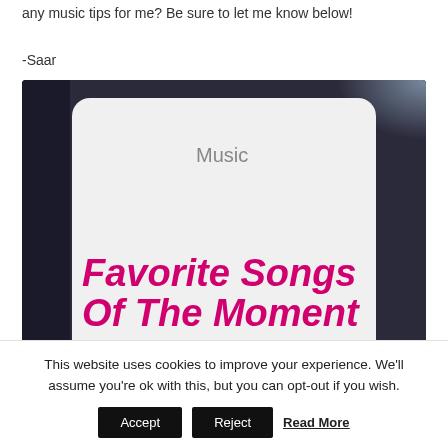any music tips for me? Be sure to let me know below!
-Saar
[Figure (photo): Photo of a music card/album with 'Music' label in gray and 'Favorite Songs Of The Moment' in bold pink italic text, against a dark blurred background]
This website uses cookies to improve your experience. We'll assume you're ok with this, but you can opt-out if you wish.
Accept   Reject   Read More